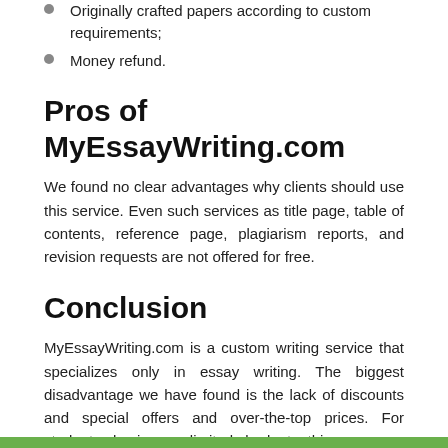Originally crafted papers according to custom requirements;
Money refund.
Pros of MyEssayWriting.com
We found no clear advantages why clients should use this service. Even such services as title page, table of contents, reference page, plagiarism reports, and revision requests are not offered for free.
Conclusion
MyEssayWriting.com is a custom writing service that specializes only in essay writing. The biggest disadvantage we have found is the lack of discounts and special offers and over-the-top prices. For students having a limited budget, this company cannot be recommended. Overall, it is not affordable even for an average student.